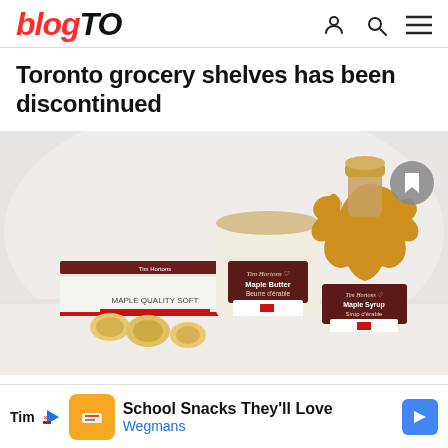blogTO
Toronto grocery shelves has been discontinued
[Figure (photo): Tim Hortons branded maple products: a box of maple candies, a jar of Maple Butter (Beurre d'érable), and a maple-leaf shaped bottle of Maple Syrup (Sirop d'érable), arranged on a white surface with small maple candy pieces in the foreground. A bookmark icon button is visible in the top right corner.]
School Snacks They'll Love
Wegmans